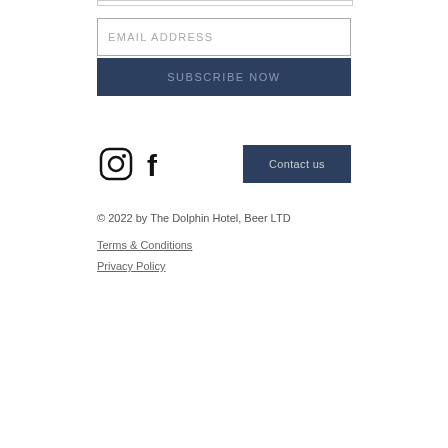EMAIL ADDRESS
SUBSCRIBE NOW
[Figure (other): Instagram and Facebook social media icons followed by a Contact us button]
© 2022 by The Dolphin Hotel, Beer LTD
Terms & Conditions
Privacy Policy